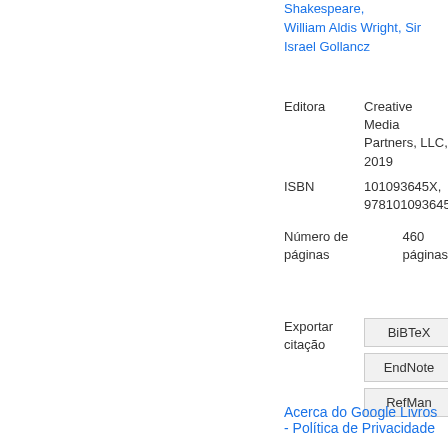Shakespeare, William Aldis Wright, Sir Israel Gollancz
| Field | Value |
| --- | --- |
| Editora | Creative Media Partners, LLC, 2019 |
| ISBN | 101093645X, 9781010936459 |
| Número de páginas | 460 páginas |
| Exportar citação | BiBTeX / EndNote / RefMan |
Acerca do Google Livros - Política de Privacidade